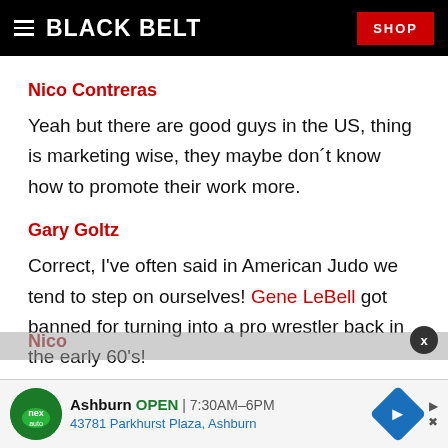BLACK BELT | SHOP
Nico Contreras
Yeah but there are good guys in the US, thing is marketing wise, they maybe don´t know how to promote their work more.
Gary Goltz
Correct, I've often said in American Judo we tend to step on ourselves! Gene LeBell got banned for turning into a pro wrestler back in the early 60's!
Nico
[Figure (other): Advertisement overlay: Ashburn auto shop - OPEN 7:30AM-6PM, 43781 Parkhurst Plaza, Ashburn, with navigation arrow icon. Close button (x) on right.]